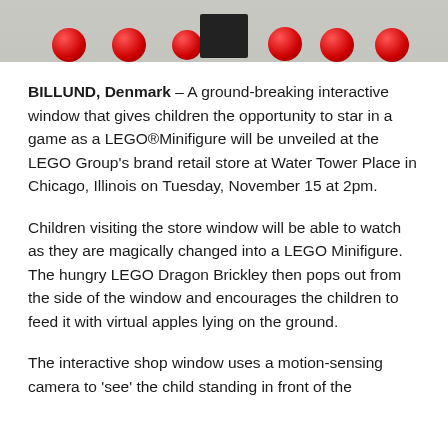[Figure (photo): Top portion of image showing red LEGO ball/apple decorations against a light background, with a dark object in the center]
BILLUND, Denmark – A ground-breaking interactive window that gives children the opportunity to star in a game as a LEGO®Minifigure will be unveiled at the LEGO Group's brand retail store at Water Tower Place in Chicago, Illinois on Tuesday, November 15 at 2pm.
Children visiting the store window will be able to watch as they are magically changed into a LEGO Minifigure. The hungry LEGO Dragon Brickley then pops out from the side of the window and encourages the children to feed it with virtual apples lying on the ground.
The interactive shop window uses a motion-sensing camera to 'see' the child standing in front of the